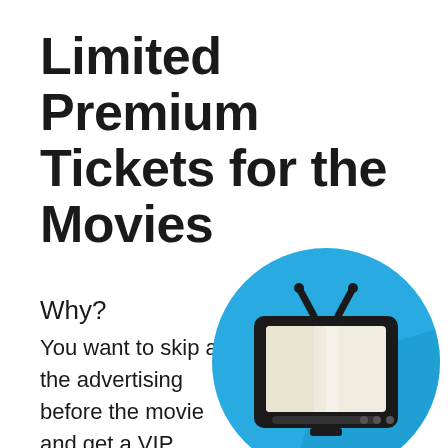Limited Premium Tickets for the Movies
Why?
You want to skip all the advertising before the movie and get a VIP
[Figure (illustration): Flat design icon of a retro television set on a blue circle background with shadow effect]